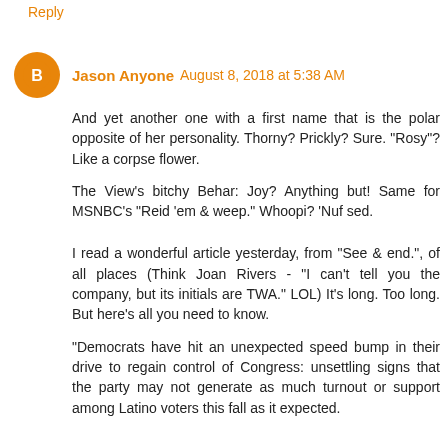Reply
Jason Anyone  August 8, 2018 at 5:38 AM
And yet another one with a first name that is the polar opposite of her personality. Thorny? Prickly? Sure. "Rosy"? Like a corpse flower.
The View's bitchy Behar: Joy? Anything but! Same for MSNBC's "Reid 'em & weep." Whoopi? 'Nuf sed.
I read a wonderful article yesterday, from "See & end.", of all places (Think Joan Rivers - "I can't tell you the company, but its initials are TWA." LOL) It's long. Too long. But here's all you need to know.
"Democrats have hit an unexpected speed bump in their drive to regain control of Congress: unsettling signs that the party may not generate as much turnout or support among Latino voters this fall as it expected.